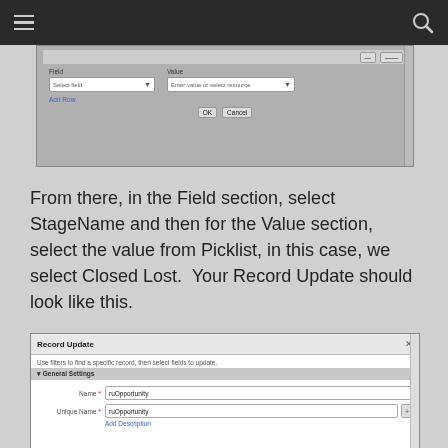[Figure (screenshot): Screenshot of a field/value dialog with Select field dropdown, Enter value or select resource dropdown, Add Row link, and OK/Cancel buttons]
From there, in the Field section, select StageName and then for the Value section, select the value from Picklist, in this case, we select Closed Lost.  Your Record Update should look like this.
[Figure (screenshot): Record Update dialog showing General Settings section with Name field set to ruOpportunity and Unique Name field set to ruOpportunity, with Add Description link]